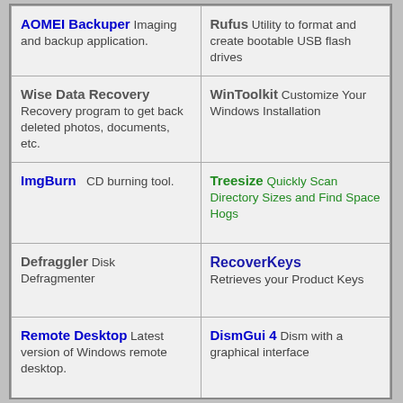AOMEI Backuper Imaging and backup application.
Rufus Utility to format and create bootable USB flash drives
Wise Data Recovery Recovery program to get back deleted photos, documents, etc.
WinToolkit Customize Your Windows Installation
ImgBurn CD burning tool.
Treesize Quickly Scan Directory Sizes and Find Space Hogs
Defraggler Disk Defragmenter
RecoverKeys Retrieves your Product Keys
Remote Desktop Latest version of Windows remote desktop.
DismGui 4 Dism with a graphical interface
DtSearch Desktop Engine instant searching of desktop-accessible files.
Advanced Renamer 3.72 Batch rename files and folders.